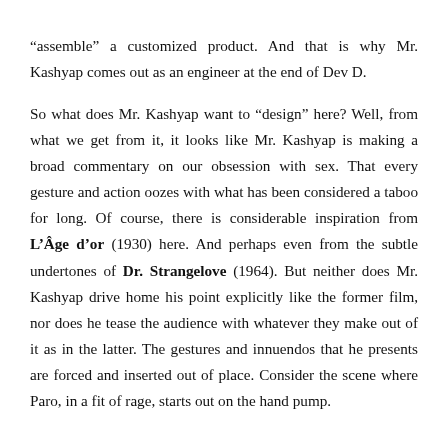“assemble” a customized product. And that is why Mr. Kashyap comes out as an engineer at the end of Dev D.

So what does Mr. Kashyap want to “design” here? Well, from what we get from it, it looks like Mr. Kashyap is making a broad commentary on our obsession with sex. That every gesture and action oozes with what has been considered a taboo for long. Of course, there is considerable inspiration from L’Âge d’or (1930) here. And perhaps even from the subtle undertones of Dr. Strangelove (1964). But neither does Mr. Kashyap drive home his point explicitly like the former film, nor does he tease the audience with whatever they make out of it as in the latter. The gestures and innuendos that he presents are forced and inserted out of place. Consider the scene where Paro, in a fit of rage, starts out on the hand pump.